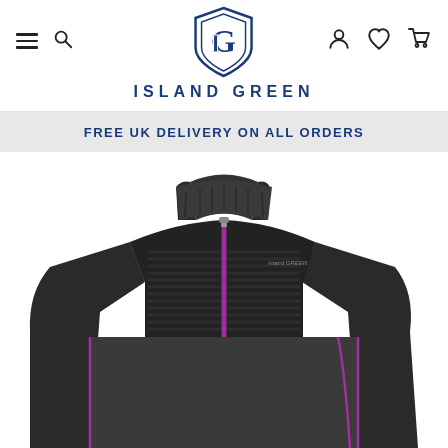Island Green navigation header with logo, hamburger menu, search, account, wishlist, and cart icons
FREE UK DELIVERY ON ALL ORDERS
[Figure (photo): Island Green golf pullover/half-zip jacket in dark charcoal/black with purple zipper and purple accent piping, featuring ribbed texture panel on upper chest and shoulders, quarter-zip collar, photographed on white background]